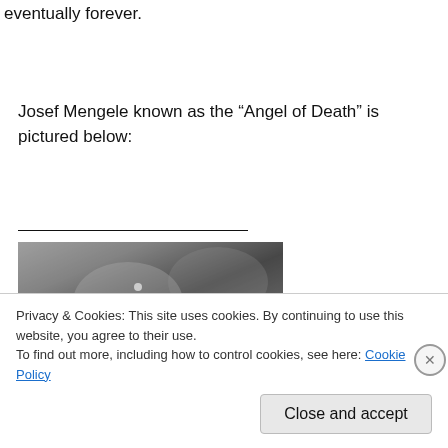eventually forever.
Josef Mengele known as the “Angel of Death” is pictured below:
[Figure (photo): Black and white photograph, partially visible, showing a person, associated with Josef Mengele]
Privacy & Cookies: This site uses cookies. By continuing to use this website, you agree to their use.
To find out more, including how to control cookies, see here: Cookie Policy
Close and accept